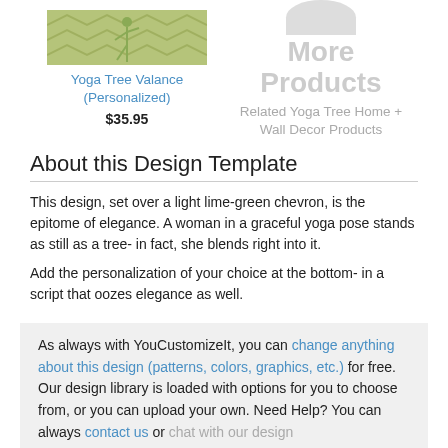[Figure (photo): Product image of Yoga Tree Valance with lime-green chevron pattern]
Yoga Tree Valance (Personalized)
$35.95
[Figure (illustration): More Products circle graphic with gray semicircle]
More Products
Related Yoga Tree Home + Wall Decor Products
About this Design Template
This design, set over a light lime-green chevron, is the epitome of elegance. A woman in a graceful yoga pose stands as still as a tree- in fact, she blends right into it.
Add the personalization of your choice at the bottom- in a script that oozes elegance as well.
As always with YouCustomizeIt, you can change anything about this design (patterns, colors, graphics, etc.) for free. Our design library is loaded with options for you to choose from, or you can upload your own. Need Help? You can always contact us or chat with our design